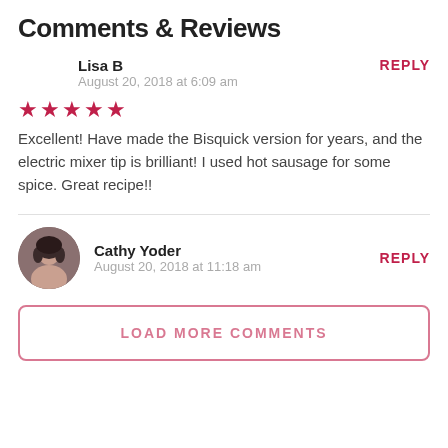Comments & Reviews
Lisa B
August 20, 2018 at 6:09 am
REPLY
★★★★★
Excellent! Have made the Bisquick version for years, and the electric mixer tip is brilliant! I used hot sausage for some spice. Great recipe!!
Cathy Yoder
August 20, 2018 at 11:18 am
REPLY
LOAD MORE COMMENTS